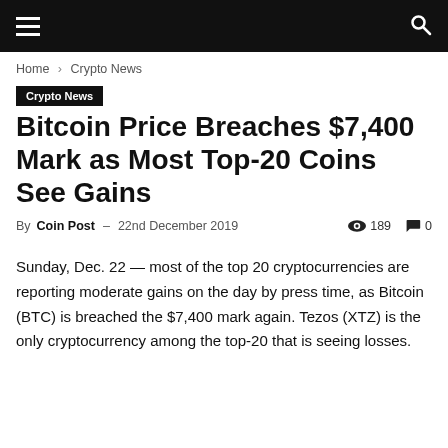Navigation bar with hamburger menu and search icon
Home › Crypto News
Crypto News
Bitcoin Price Breaches $7,400 Mark as Most Top-20 Coins See Gains
By Coin Post – 22nd December 2019  189  0
Sunday, Dec. 22 — most of the top 20 cryptocurrencies are reporting moderate gains on the day by press time, as Bitcoin (BTC) is breached the $7,400 mark again. Tezos (XTZ) is the only cryptocurrency among the top-20 that is seeing losses.